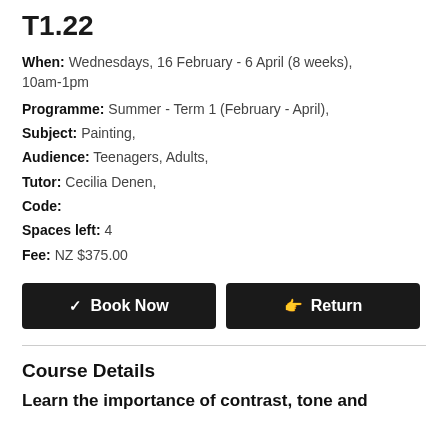T1.22
When: Wednesdays, 16 February - 6 April (8 weeks), 10am-1pm
Programme: Summer - Term 1 (February - April),
Subject: Painting,
Audience: Teenagers, Adults,
Tutor: Cecilia Denen,
Code:
Spaces left: 4
Fee: NZ $375.00
Book Now | Return
Course Details
Learn the importance of contrast, tone and